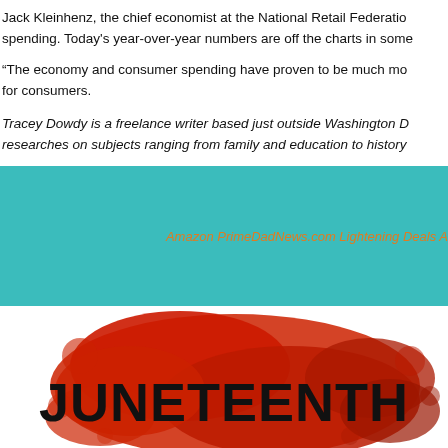Jack Kleinhenz, the chief economist at the National Retail Federation, spending. Today's year-over-year numbers are off the charts in some
“The economy and consumer spending have proven to be much mo for consumers.
Tracey Dowdy is a freelance writer based just outside Washington D researches on subjects ranging from family and education to history
[Figure (other): Teal/cyan banner with orange italic text reading 'Amazon PrimeDadNews.com Lightening Deals A']
[Figure (illustration): Juneteenth graphic with red paint splash background and bold black text reading JUNETEENTH]